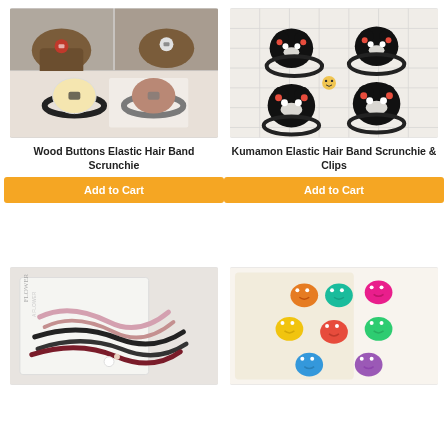[Figure (photo): Wood Buttons Elastic Hair Band Scrunchie product photo showing hair ties with wood button clasps and usage photos]
Wood Buttons Elastic Hair Band Scrunchie
Add to Cart
[Figure (photo): Kumamon Elastic Hair Band Scrunchie & Clips product photo showing black bear face hair ties on grid background]
Kumamon Elastic Hair Band Scrunchie & Clips
Add to Cart
[Figure (photo): Hair ties in multiple colors including pink, black, and burgundy arranged on a decorative card]
[Figure (photo): Colorful small octopus/crab shaped hair clips in various bright colors]